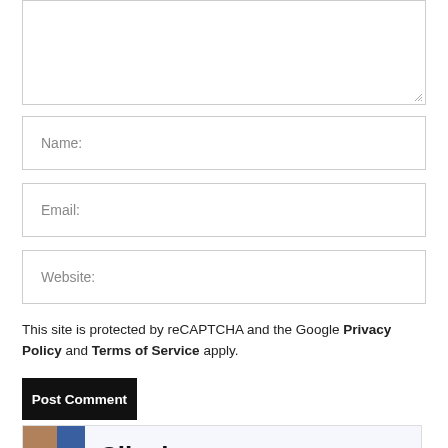[Figure (screenshot): Textarea input box (comment field) with resize handle at bottom right]
Name:
Email:
Website:
This site is protected by reCAPTCHA and the Google Privacy Policy and Terms of Service apply.
Post Comment
[Figure (screenshot): Cilexin advertisement banner with a woman's headshot and the text Cilexin]